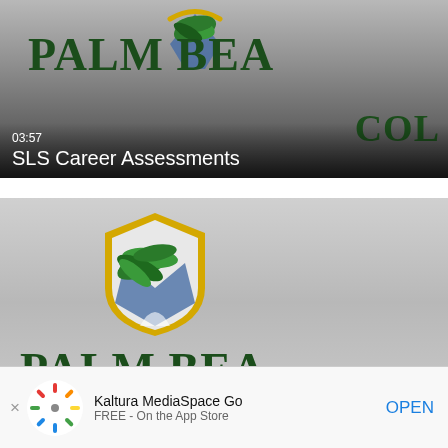[Figure (screenshot): Video thumbnail showing Palm Beach College logo on grey gradient background with timestamp 03:57 and title SLS Career Assessments]
03:57
SLS Career Assessments
[Figure (screenshot): Second video thumbnail showing Palm Beach College shield logo on grey gradient background]
Kaltura MediaSpace Go
FREE - On the App Store
OPEN